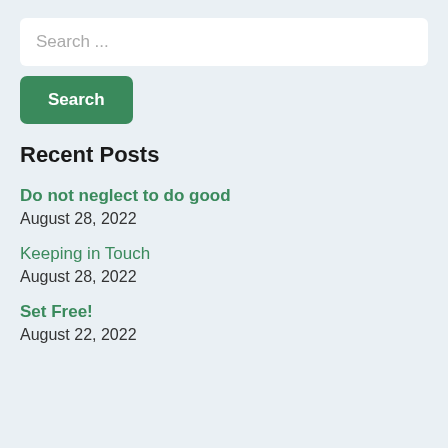Search ...
Search
Recent Posts
Do not neglect to do good
August 28, 2022
Keeping in Touch
August 28, 2022
Set Free!
August 22, 2022